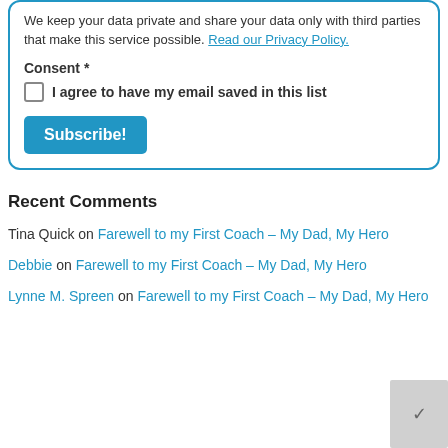We keep your data private and share your data only with third parties that make this service possible. Read our Privacy Policy.
Consent *
I agree to have my email saved in this list
Subscribe!
Recent Comments
Tina Quick on Farewell to my First Coach – My Dad, My Hero
Debbie on Farewell to my First Coach – My Dad, My Hero
Lynne M. Spreen on Farewell to my First Coach – My Dad, My Hero